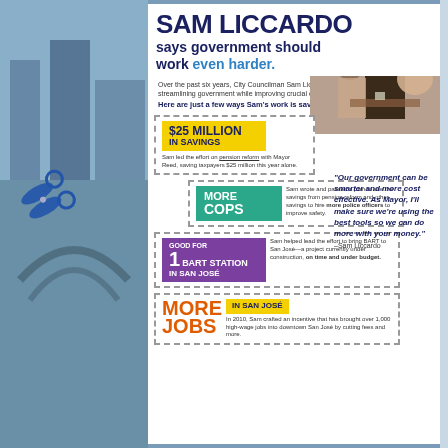SAM LICCARDO says government should work even harder.
Over the past six years, City Councilman Sam Liccardo has saved taxpayers millions by streamlining government while improving crucial city services.
Here are just a few ways Sam's work is saving us money:
$25 MILLION IN SAVINGS – Sam led the effort on pension reform with Mayor Reed, saving taxpayers $25 million this year alone.
MORE COPS – Sam wrote and passed a plan to use the savings from pension reform and other savings to hire more police officers to improve safety.
GOOD FOR 1 BART STATION IN SAN JOSÉ – Sam helped lead the effort to bring BART to San José—a project currently under construction, on time and under budget.
MORE JOBS IN SAN JOSÉ – In 2010, Sam crafted an incentive that has brought over 1,000 high-wage jobs into downtown San José by cutting fees and more.
"Our government can be smarter and more cost effective. As Mayor, I'll make sure we're using the best tools so we can do more with your money." –Sam Liccardo